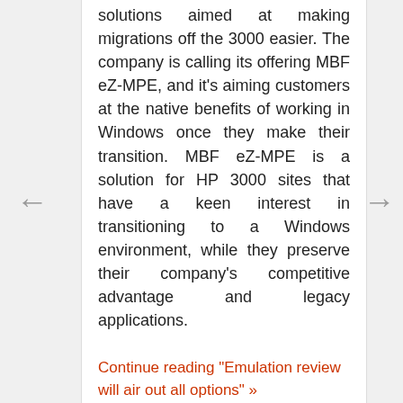solutions aimed at making migrations off the 3000 easier. The company is calling its offering MBF eZ-MPE, and it's aiming customers at the native benefits of working in Windows once they make their transition. MBF eZ-MPE is a solution for HP 3000 sites that have a keen interest in transitioning to a Windows environment, while they preserve their company's competitive advantage and legacy applications.
Continue reading "Emulation review will air out all options" »
Posted on January 13, 2017 at 11:12 AM in Homesteading, Migration | Permalink | Comments (0)